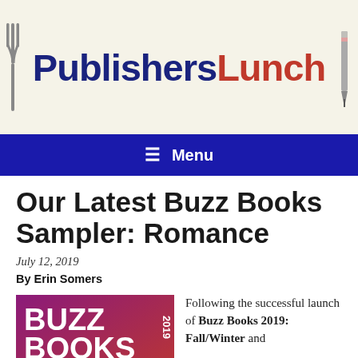[Figure (logo): PublishersLunch logo with fork and pencil icons, text 'Publishers' in dark blue and 'Lunch' in red]
≡  Menu
Our Latest Buzz Books Sampler: Romance
July 12, 2019
By Erin Somers
[Figure (illustration): Buzz Books 2019 Romance book cover — purple/magenta gradient background with white text: BUZZ BOOKS 2019 ROMANCE]
Following the successful launch of Buzz Books 2019: Fall/Winter and